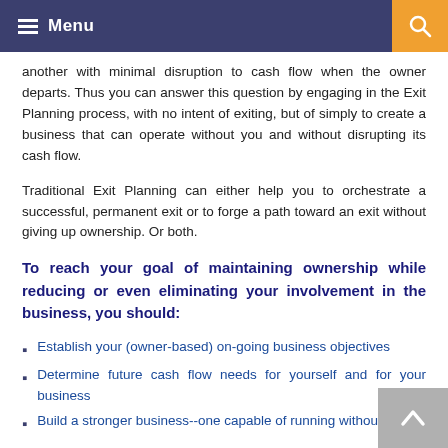Menu
another with minimal disruption to cash flow when the owner departs. Thus you can answer this question by engaging in the Exit Planning process, with no intent of exiting, but of simply to create a business that can operate without you and without disrupting its cash flow.
Traditional Exit Planning can either help you to orchestrate a successful, permanent exit or to forge a path toward an exit without giving up ownership. Or both.
To reach your goal of maintaining ownership while reducing or even eliminating your involvement in the business, you should:
Establish your (owner-based) on-going business objectives
Determine future cash flow needs for yourself and for your business
Build a stronger business--one capable of running without you